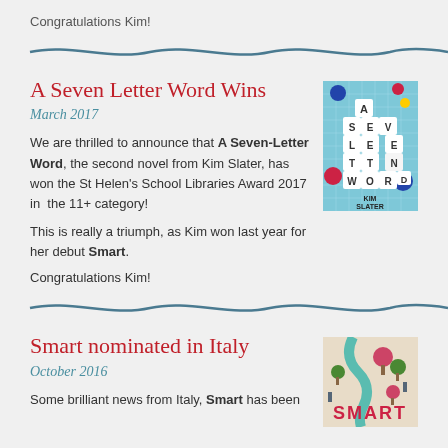Congratulations Kim!
[Figure (illustration): Wavy blue divider line]
A Seven Letter Word Wins
March 2017
We are thrilled to announce that A Seven-Letter Word, the second novel from Kim Slater, has won the St Helen's School Libraries Award 2017 in the 11+ category!
This is really a triumph, as Kim won last year for her debut Smart.
Congratulations Kim!
[Figure (photo): Book cover of A Seven Letter Word by Kim Slater - blue grid background with letter tiles spelling out the title]
[Figure (illustration): Wavy blue divider line]
Smart nominated in Italy
October 2016
Some brilliant news from Italy, Smart has been
[Figure (photo): Book cover of Smart by Kim Slater - illustration with river, trees and the word SMART]